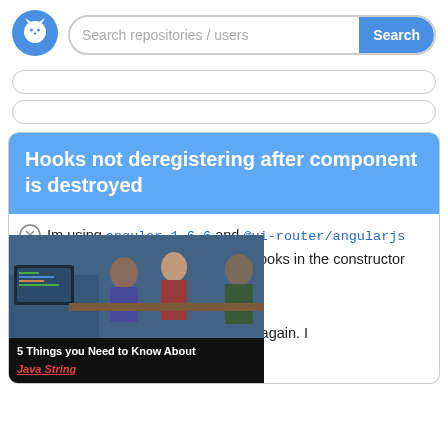[Figure (screenshot): GitHub logo circle icon in blue]
Search repositories / users
Search
Hooks not deregistering after component is destroyed
Im using angular 1.6.6 and @ui-router/angularjs 1.0.3. I'm registering onStart hooks in the constructor on the controller of one of my [views]. After I leave and reenter [the view], the hook registers itself again. I [tried deregistering 'onStart')
[Figure (screenshot): Video overlay thumbnail showing people at computers with caption '5 Things you Need to Know About Java String']